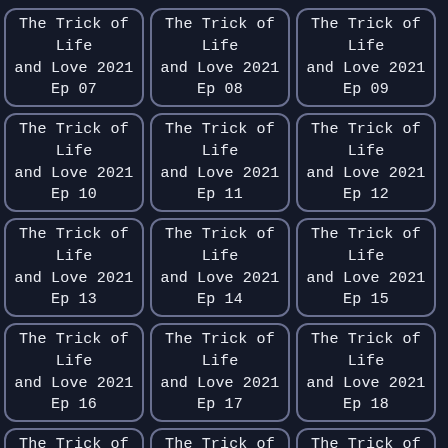The Trick of Life and Love 2021 Ep 07
The Trick of Life and Love 2021 Ep 08
The Trick of Life and Love 2021 Ep 09
The Trick of Life and Love 2021 Ep 10
The Trick of Life and Love 2021 Ep 11
The Trick of Life and Love 2021 Ep 12
The Trick of Life and Love 2021 Ep 13
The Trick of Life and Love 2021 Ep 14
The Trick of Life and Love 2021 Ep 15
The Trick of Life and Love 2021 Ep 16
The Trick of Life and Love 2021 Ep 17
The Trick of Life and Love 2021 Ep 18
The Trick of Life and Love 2021 Ep 19
The Trick of Life and Love 2021 Ep 20
The Trick of Life and Love 2021 Ep 21